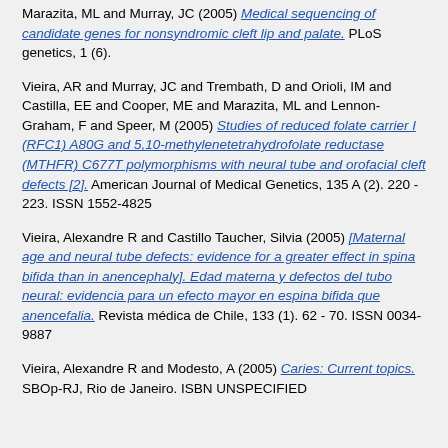Marazita, ML and Murray, JC (2005) Medical sequencing of candidate genes for nonsyndromic cleft lip and palate. PLoS genetics, 1 (6).
Vieira, AR and Murray, JC and Trembath, D and Orioli, IM and Castilla, EE and Cooper, ME and Marazita, ML and Lennon-Graham, F and Speer, M (2005) Studies of reduced folate carrier I (RFC1) A80G and 5,10-methylenetetrahydrofolate reductase (MTHFR) C677T polymorphisms with neural tube and orofacial cleft defects [2]. American Journal of Medical Genetics, 135 A (2). 220 - 223. ISSN 1552-4825
Vieira, Alexandre R and Castillo Taucher, Silvia (2005) [Maternal age and neural tube defects: evidence for a greater effect in spina bifida than in anencephaly]. Edad materna y defectos del tubo neural: evidencia para un efecto mayor en espina bifida que anencefalia. Revista médica de Chile, 133 (1). 62 - 70. ISSN 0034-9887
Vieira, Alexandre R and Modesto, A (2005) Caries: Current topics. SBOp-RJ, Rio de Janeiro. ISBN UNSPECIFIED